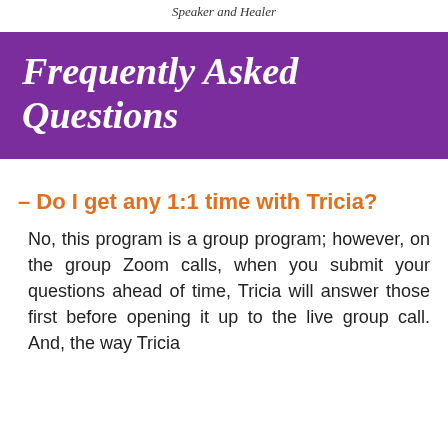Speaker and Healer
Frequently Asked Questions
– Do I get any 1:1 time with Tricia?
No, this program is a group program; however, on the group Zoom calls, when you submit your questions ahead of time, Tricia will answer those first before opening it up to the live group call. And, the way Tricia